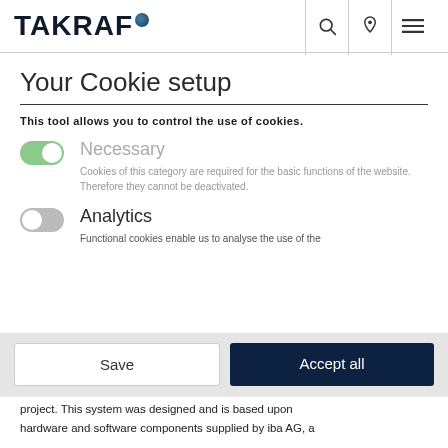TAKRAF
Your Cookie setup
This tool allows you to control the use of cookies.
Necessary
Cookies of this category are required for the basic functions of the website. Therefore they cannot be deactivated.
Analytics
Functional cookies enable us to analyse the use of the
project. This system was designed and is based upon hardware and software components supplied by iba AG, a